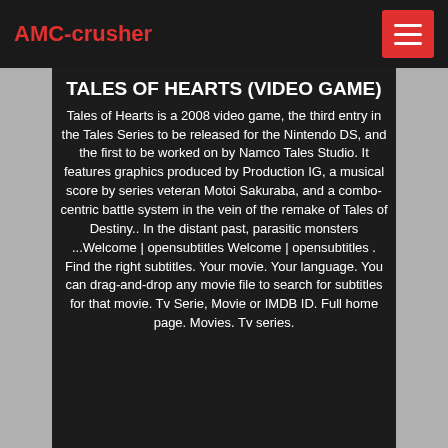AMC-crusher
TALES OF HEARTS (VIDEO GAME)
Tales of Hearts is a 2008 video game, the third entry in the Tales Series to be released for the Nintendo DS, and the first to be worked on by Namco Tales Studio. It features graphics produced by Production IG, a musical score by series veteran Motoi Sakuraba, and a combo-centric battle system in the vein of the remake of Tales of Destiny.. In the distant past, parasitic monsters ...Welcome | opensubtitles Welcome | opensubtitles . Find the right subtitles. Your movie. Your language. You can drag-and-drop any movie file to search for subtitles for that movie. Tv Serie, Movie or IMDB ID. Full home page. Movies. Tv series.